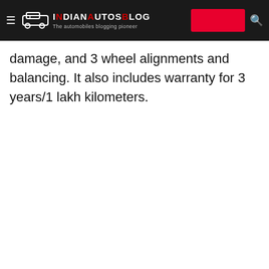IndianAutosBlog – The automobiles blogging pioneer
damage, and 3 wheel alignments and balancing. It also includes warranty for 3 years/1 lakh kilometers.